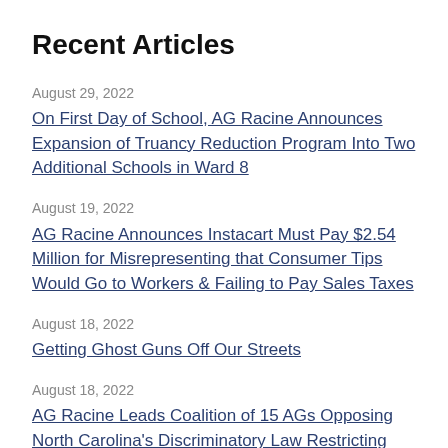Recent Articles
August 29, 2022
On First Day of School, AG Racine Announces Expansion of Truancy Reduction Program Into Two Additional Schools in Ward 8
August 19, 2022
AG Racine Announces Instacart Must Pay $2.54 Million for Misrepresenting that Consumer Tips Would Go to Workers & Failing to Pay Sales Taxes
August 18, 2022
Getting Ghost Guns Off Our Streets
August 18, 2022
AG Racine Leads Coalition of 15 AGs Opposing North Carolina's Discriminatory Law Restricting Voting Rights for Returning Citizens